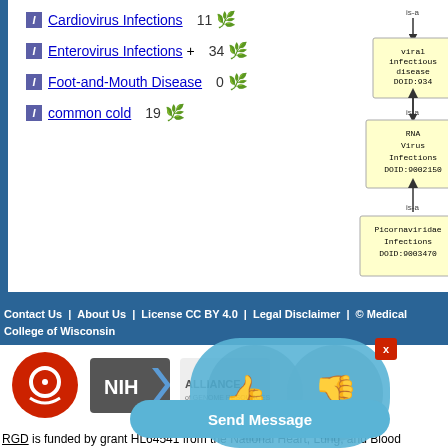Cardiovirus Infections  11
Enterovirus Infections +  34
Foot-and-Mouth Disease  0
common cold  19
[Figure (flowchart): Ontology hierarchy diagram showing is-a relationships: viral infectious disease DOID:934 -> RNA Virus Infections DOID:9002150 -> Picornaviridae Infections DOID:9003470]
Contact Us | About Us | License CC BY 4.0 | Legal Disclaimer | © Medical College of Wisconsin
[Figure (logo): RGD rat genome database logo, NIH logo, Alliance of Genome Resources logo, feedback thumbs up/down buttons, Send Message bar]
RGD is funded by grant HL64541 from the National Heart, Lung, and Blood Institute